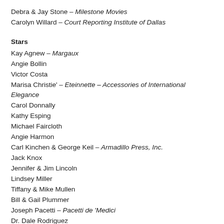Debra & Jay Stone – Milestone Movies
Carolyn Willard – Court Reporting Institute of Dallas
Stars
Kay Agnew – Margaux
Angie Bollin
Victor Costa
Marisa Christie' – Eteinnette – Accessories of International Elegance
Carol Donnally
Kathy Esping
Michael Faircloth
Angie Harmon
Carl Kinchen & George Keil – Armadillo Press, Inc.
Jack Knox
Jennifer & Jim Lincoln
Lindsey Miller
Tiffany & Mike Mullen
Bill & Gail Plummer
Joseph Pacetti – Pacetti de 'Medici
Dr. Dale Rodriguez
Kim Simon